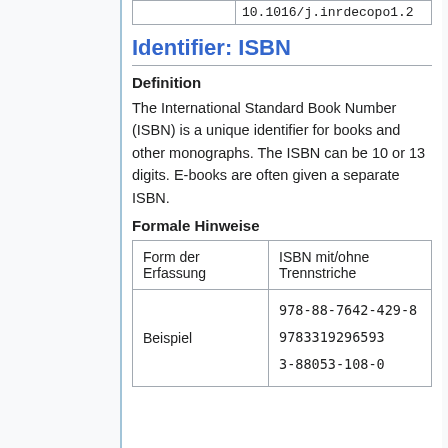|  |  |
| --- | --- |
|  | 10.1016/j.inrdecopo1.2 |
Identifier: ISBN
Definition
The International Standard Book Number (ISBN) is a unique identifier for books and other monographs. The ISBN can be 10 or 13 digits. E-books are often given a separate ISBN.
Formale Hinweise
| Form der Erfassung | ISBN mit/ohne Trennstriche |
| --- | --- |
| Beispiel | 978-88-7642-429-8
9783319296593
3-88053-108-0 |